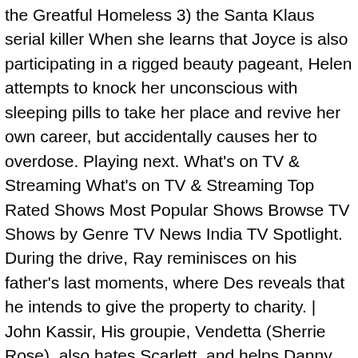the Greatful Homeless 3) the Santa Klaus serial killer When she learns that Joyce is also participating in a rigged beauty pageant, Helen attempts to knock her unconscious with sleeping pills to take her place and revive her own career, but accidentally causes her to overdose. Playing next. What's on TV & Streaming What's on TV & Streaming Top Rated Shows Most Popular Shows Browse TV Shows by Genre TV News India TV Spotlight. During the drive, Ray reminisces on his father's last moments, where Des reveals that he intends to give the property to charity. | John Kassir, His groupie, Vendetta (Sherrie Rose), also hates Scarlett, and helps Danny calm down by letting him visit Farouche (Heavy D), a mysterious tattoo artist who ends up giving him a tattoo of Scarlett on his chest. Tales from the Crypt is a 1980s American anthology horror TV series based on the 1950s EC Comics series of the same name. However, when Frank finds love and Eddie resorts to murder, the former finally changes his mind. Watch Tales from the Crypt Season 1-episode-3- Online free in HD kisscartoon,